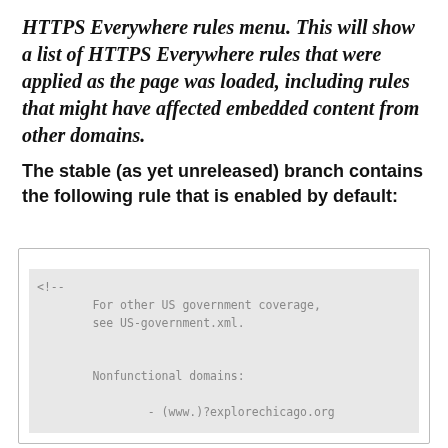HTTPS Everywhere rules menu. This will show a list of HTTPS Everywhere rules that were applied as the page was loaded, including rules that might have affected embedded content from other domains.
The stable (as yet unreleased) branch contains the following rule that is enabled by default:
[Figure (screenshot): Code block showing XML comment with ruleset for City of Chicago including target host cityofchicago.org]